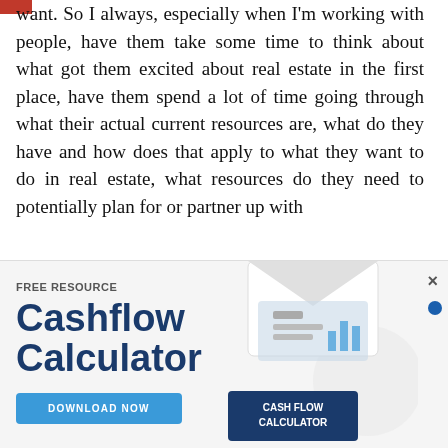want. So I always, especially when I'm working with people, have them take some time to think about what got them excited about real estate in the first place, have them spend a lot of time going through what their actual current resources are, what do they have and how does that apply to what they want to do in real estate, what resources do they need to potentially plan for or partner up with
[Figure (infographic): Advertisement banner for a free Cashflow Calculator resource. Features the text 'FREE RESOURCE', bold heading 'Cashflow Calculator', a 'DOWNLOAD NOW' button, and an image showing hands using a tablet with a 'CASH FLOW CALCULATOR' label overlay.]